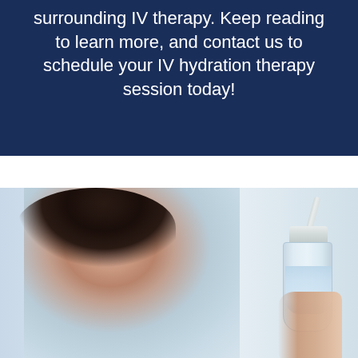surrounding IV therapy. Keep reading to learn more, and contact us to schedule your IV hydration therapy session today!
[Figure (photo): A female healthcare professional with dark hair pulled back, wearing a white coat, shown in soft focus on the left. On the right, a close-up of a hand holding a clear IV vial/syringe with a tube extending from the top, against a light blue background.]